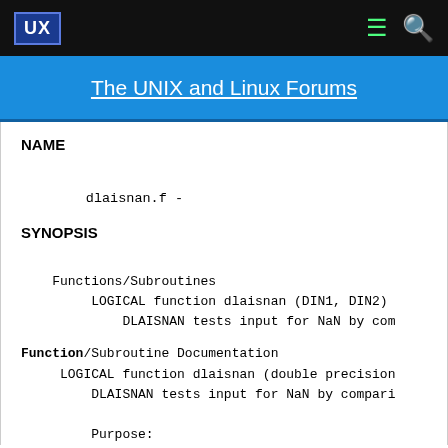UX  [menu icon]  [search icon]
The UNIX and Linux Forums
NAME
dlaisnan.f -
SYNOPSIS
Functions/Subroutines
      LOGICAL function dlaisnan (DIN1, DIN2)
          DLAISNAN tests input for NaN by com
Function/Subroutine Documentation
    LOGICAL function dlaisnan (double precision
        DLAISNAN tests input for NaN by compari

        Purpose: